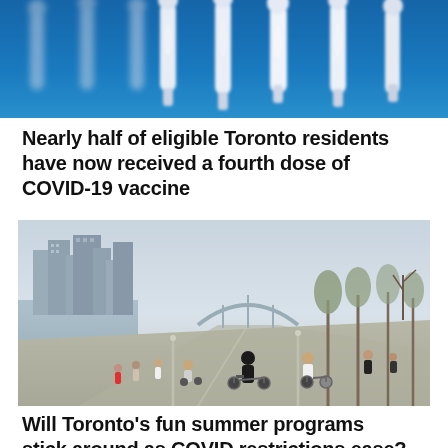[Figure (photo): Close-up photo of multiple syringes with blue background, representing COVID-19 vaccines]
Nearly half of eligible Toronto residents have now received a fourth dose of COVID-19 vaccine
[Figure (photo): People cycling and walking along a waterfront path in Toronto with the city skyline visible in the background on a sunny day]
Will Toronto's fun summer programs stick around as COVID restrictions ease?